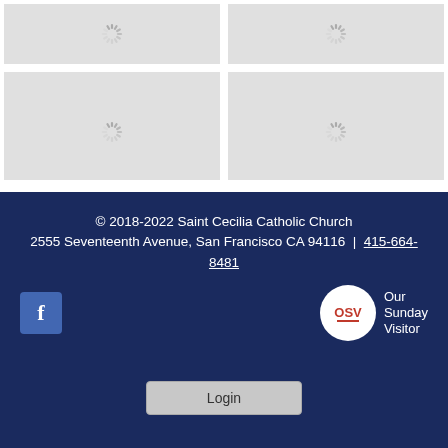[Figure (other): Four image placeholder boxes arranged in a 2x2 grid, showing loading spinners on grey backgrounds]
© 2018-2022 Saint Cecilia Catholic Church
2555 Seventeenth Avenue, San Francisco CA 94116  |  415-664-8481
[Figure (logo): Facebook icon - blue square with white 'f' letter]
[Figure (logo): Our Sunday Visitor logo - circular OSV badge with text 'Our Sunday Visitor']
Login